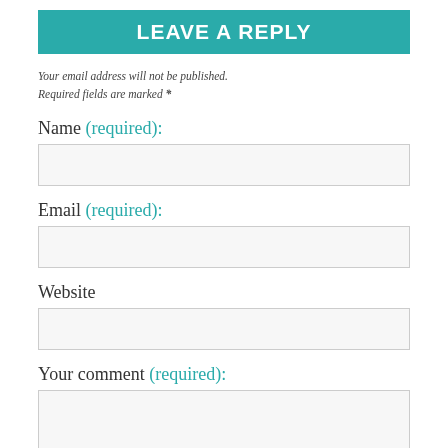LEAVE A REPLY
Your email address will not be published. Required fields are marked *
Name (required):
Email (required):
Website
Your comment (required):